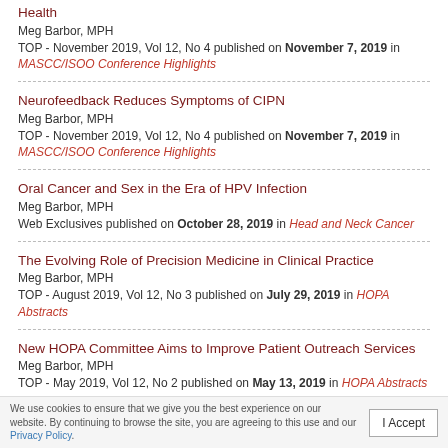Health
Meg Barbor, MPH
TOP - November 2019, Vol 12, No 4 published on November 7, 2019 in MASCC/ISOO Conference Highlights
Neurofeedback Reduces Symptoms of CIPN
Meg Barbor, MPH
TOP - November 2019, Vol 12, No 4 published on November 7, 2019 in MASCC/ISOO Conference Highlights
Oral Cancer and Sex in the Era of HPV Infection
Meg Barbor, MPH
Web Exclusives published on October 28, 2019 in Head and Neck Cancer
The Evolving Role of Precision Medicine in Clinical Practice
Meg Barbor, MPH
TOP - August 2019, Vol 12, No 3 published on July 29, 2019 in HOPA Abstracts
New HOPA Committee Aims to Improve Patient Outreach Services
Meg Barbor, MPH
TOP - May 2019, Vol 12, No 2 published on May 13, 2019 in HOPA Abstracts
We use cookies to ensure that we give you the best experience on our website. By continuing to browse the site, you are agreeing to this use and our Privacy Policy.